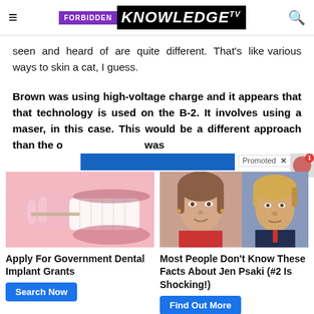Forbidden Knowledge TV
seen and heard of are quite different. That's like various ways to skin a cat, I guess.
Brown was using high-voltage charge and it appears that that technology is used on the B-2. It involves using a maser, in this case. This would be a different approach than the o… B… was…
[Figure (screenshot): Advertisement section with two ad cards: 1) Dental implant ad with image of dental procedure, title 'Apply For Government Dental Implant Grants', button 'Search Now'. 2) Jen Psaki facts ad with images of Jen Psaki and Donald Trump, title 'Most People Don't Know These Facts About Jen Psaki (#2 Is Shocking!)', button 'Find Out More'. Promoted label visible.]